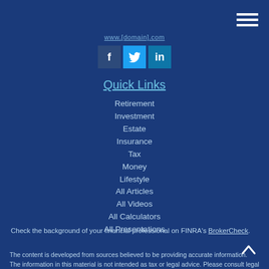www.[domain].com (URL link)
[Figure (infographic): Social media icons: Facebook (dark blue), Twitter (light blue), LinkedIn (dark blue)]
Quick Links
Retirement
Investment
Estate
Insurance
Tax
Money
Lifestyle
All Articles
All Videos
All Calculators
All Presentations
Check the background of your financial professional on FINRA's BrokerCheck.
The content is developed from sources believed to be providing accurate information. The information in this material is not intended as tax or legal advice. Please consult legal or tax professionals for specific information regarding your individual situation.